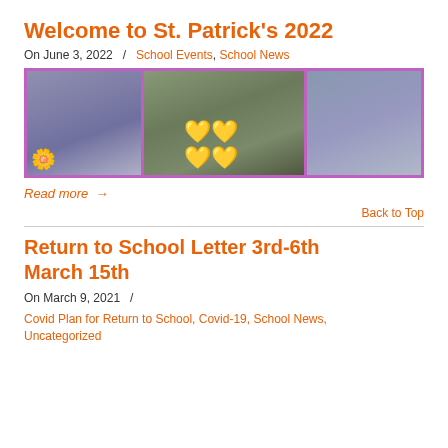Welcome to St. Patrick's 2022
On June 3, 2022  /  School Events, School News
[Figure (photo): Photo collage of school students at an outdoor event, with decorative yellow hearts overlaid, framed in purple/pink border]
Read more →
Back to Top
Return to School Letter 3rd-6th March 15th
On March 9, 2021  /
Covid Plan for Return to School, Covid-19, School News, Uncategorized